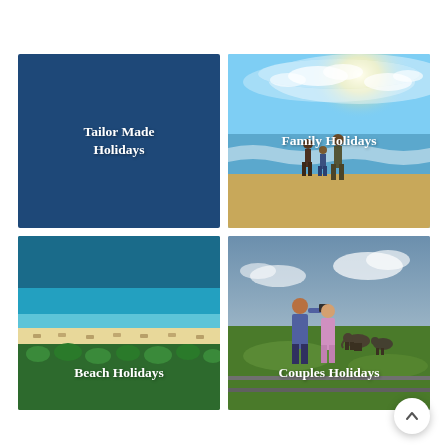[Figure (illustration): 2x2 grid of holiday category tiles. Top-left: solid dark blue tile with text 'Tailor Made Holidays'. Top-right: beach photo with family (two adults, one child) standing in ocean waves under bright sun. Bottom-left: aerial view of beach with turquoise water and green palm trees. Bottom-right: couple photographing elephants in green field. Each tile has bold white text label. Bottom-right has a circular white scroll-up button.]